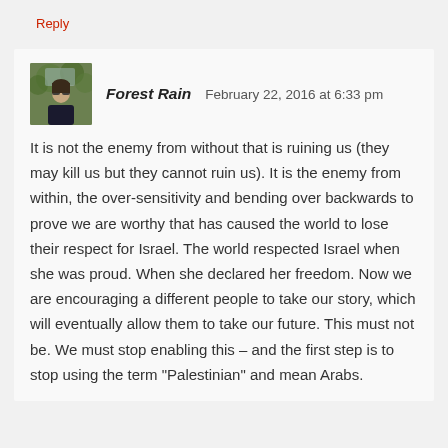Reply
Forest Rain   February 22, 2016 at 6:33 pm
It is not the enemy from without that is ruining us (they may kill us but they cannot ruin us). It is the enemy from within, the over-sensitivity and bending over backwards to prove we are worthy that has caused the world to lose their respect for Israel. The world respected Israel when she was proud. When she declared her freedom. Now we are encouraging a different people to take our story, which will eventually allow them to take our future. This must not be. We must stop enabling this – and the first step is to stop using the term "Palestinian" and mean Arabs.